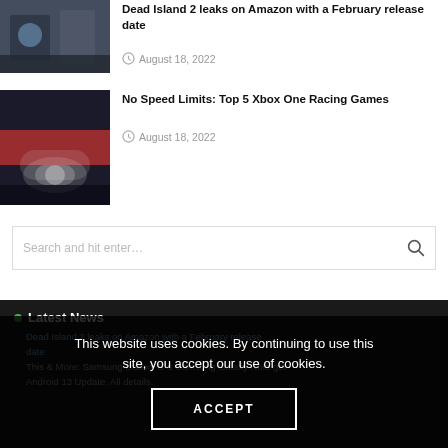[Figure (photo): Thumbnail image for Dead Island 2 article showing a character in a zombie apocalypse urban setting]
Dead Island 2 leaks on Amazon with a February release date
August 18, 2022
[Figure (photo): Thumbnail image for Xbox One Racing Games article showing a gaming controller with red lighting on a dark surface]
No Speed Limits: Top 5 Xbox One Racing Games
August 18, 2022
Search and hit enter…
Latest News
Dead Island 2 leaks on Amazon with a February release date
This website uses cookies. By continuing to use this site, you accept our use of cookies.
ACCEPT